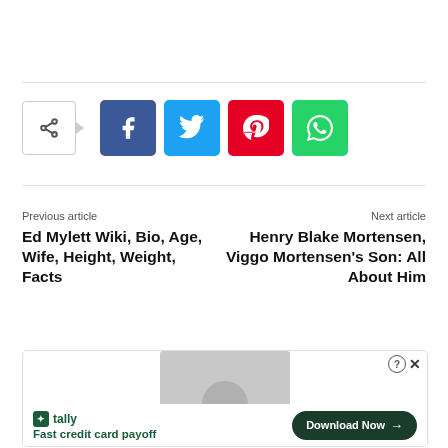[Figure (other): Social share bar with share toggle button and social media buttons: Facebook (blue), Twitter (cyan), Pinterest (red), WhatsApp (green)]
Previous article
Ed Mylett Wiki, Bio, Age, Wife, Height, Weight, Facts
Next article
Henry Blake Mortensen, Viggo Mortensen's Son: All About Him
[Figure (other): Advertisement banner for Tally app - Fast credit card payoff, with Download Now button]